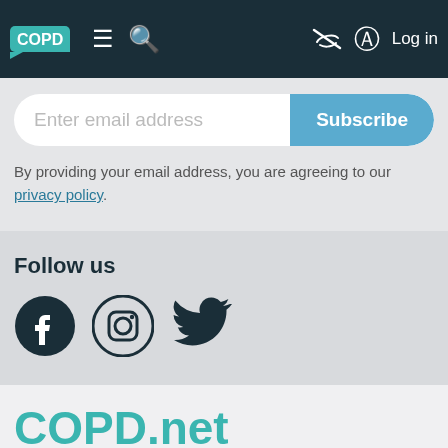COPD — navigation bar with logo, menu, search, accessibility, and Log in
Enter email address
Subscribe
By providing your email address, you are agreeing to our privacy policy.
Follow us
[Figure (illustration): Social media icons: Facebook, Instagram, Twitter]
COPD.net
ABOUT US
CONTACT US